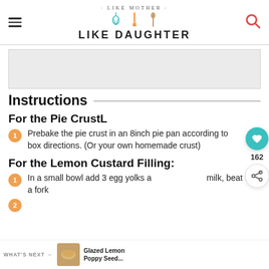· LIKE MOTHER · LIKE DAUGHTER
[Figure (other): Advertisement placeholder (gray box)]
Instructions
For the Pie CrustL
Prebake the pie crust in an 8inch pie pan according to box directions. (Or your own homemade crust)
For the Lemon Custard Filling:
In a small bowl add 3 egg yolks and milk, beat with a fork
(partially visible)